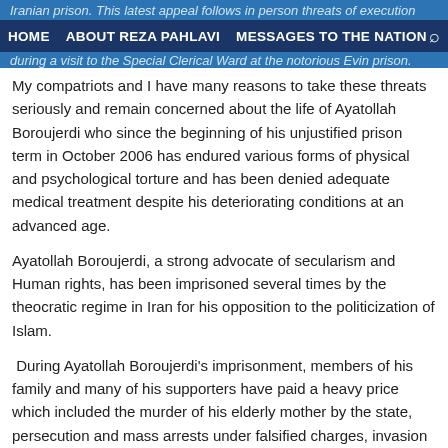Iranian prison. This latest appeal follows in person threats of execution [text obscured by nav] during a visit to the Special Clerical Ward at the notorious Evin prison.
HOME   ABOUT REZA PAHLAVI   MESSAGES TO THE NATION   [search icon]
My compatriots and I have many reasons to take these threats seriously and remain concerned about the life of Ayatollah Boroujerdi who since the beginning of his unjustified prison term in October 2006 has endured various forms of physical and psychological torture and has been denied adequate medical treatment despite his deteriorating conditions at an advanced age.
Ayatollah Boroujerdi, a strong advocate of secularism and Human rights, has been imprisoned several times by the theocratic regime in Iran for his opposition to the politicization of Islam.
During Ayatollah Boroujerdi's imprisonment, members of his family and many of his supporters have paid a heavy price which included the murder of his elderly mother by the state, persecution and mass arrests under falsified charges, invasion of privacy by means of constant monitoring and surveillance, confiscation of private property, denial of access to public education and public services, denial of access to employment, loss of health care and other benefits, and financial hardship. The above mentioned measures amount to the violation of basic human rights, which is a cause of concern.